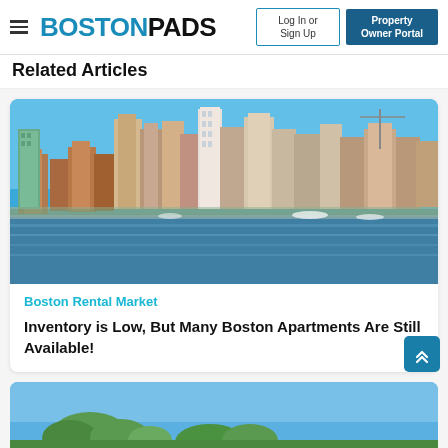BOSTONPADS | Log In or Sign Up | Property Owner Portal
Related Articles
[Figure (photo): Boston city skyline viewed from the water, featuring tall modern skyscrapers and brick buildings, with the harbor in the foreground under a bright blue sky.]
Boston Rental Market
Inventory is Low, But Many Boston Apartments Are Still Available!
[Figure (photo): Partial view of a second article card showing a blue sky with green trees, cropped at the bottom of the page.]